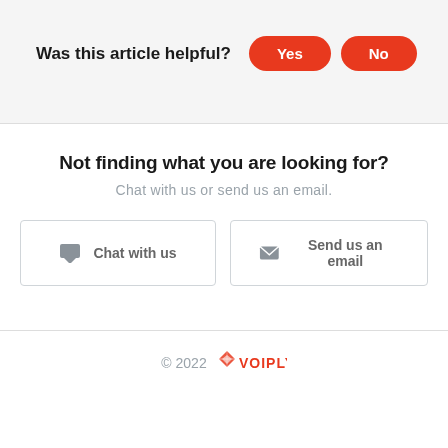Was this article helpful?
Not finding what you are looking for?
Chat with us or send us an email.
Chat with us
Send us an email
© 2022 VOIPLY